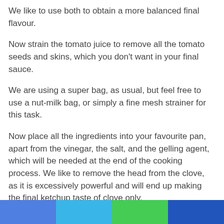We like to use both to obtain a more balanced final flavour.
Now strain the tomato juice to remove all the tomato seeds and skins, which you don't want in your final sauce.
We are using a super bag, as usual, but feel free to use a nut-milk bag, or simply a fine mesh strainer for this task.
Now place all the ingredients into your favourite pan, apart from the vinegar, the salt, and the gelling agent, which will be needed at the end of the cooking process. We like to remove the head from the clove, as it is excessively powerful and will end up making the final ketchup taste of clove only.
[Figure (other): Colored footer bar with four horizontal colored sections: blue, light blue, green, dark blue]